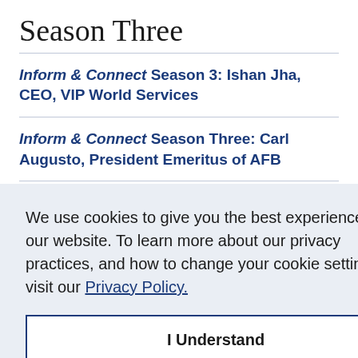Season Three
Inform & Connect Season 3: Ishan Jha, CEO, VIP World Services
Inform & Connect Season Three: Carl Augusto, President Emeritus of AFB
We use cookies to give you the best experience on our website. To learn more about our privacy practices, and how to change your cookie settings, visit our Privacy Policy.
I Understand
House for the Blind